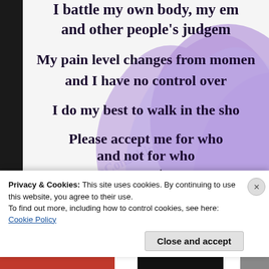[Figure (illustration): Purple heart-shaped watercolor background with fibromyalgia awareness text overlaid. Left edge has a dark/black border. The image shows partial lines of text about battling chronic illness, pain levels, empathy, and acceptance.]
I battle my own body, my em... and other people's judgem...
My pain level changes from momen... and I have no control over...
I do my best to walk in the sho...
Please accept me for who... and not for who you want me to be.
Privacy & Cookies: This site uses cookies. By continuing to use this website, you agree to their use.
To find out more, including how to control cookies, see here: Cookie Policy
Close and accept